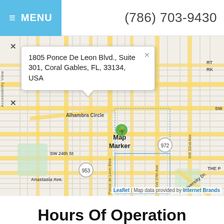MENU | (786) 703-9430
[Figure (map): Street map showing location at 1805 Ponce De Leon Blvd., Suite 301, Coral Gables, FL, 33134, USA. Map shows streets including Alhambra Circle, SW 24th St, Anastasia Ave, University Dr, with route markers 972 and 953. Attribution: Leaflet | Map data provided by Internet Brands.]
Hours Of Operation